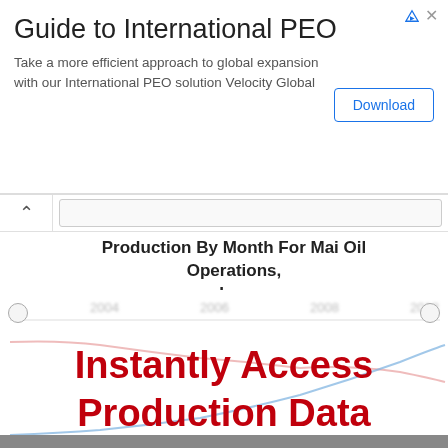[Figure (screenshot): Advertisement banner for 'Guide to International PEO' with Download button]
Production By Month For Mai Oil Operations, Inc.
[Figure (continuous-plot): Blurred line chart showing production by month with x-axis years (2004, 2006, 2008, 2012). Two lines: red (declining) and blue (rising). Chart is blurred/obscured by overlay text.]
Instantly Access Production Data
Subscribe now to receive immediate access to Mai Oil Operations, Inc. oil and gas production between January 1980 and April 2022